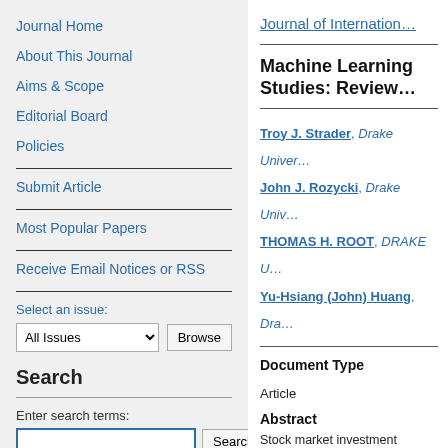Journal Home
About This Journal
Aims & Scope
Editorial Board
Policies
Submit Article
Most Popular Papers
Receive Email Notices or RSS
Select an issue:
Search
Enter search terms:
in this journal
Journal of Internation...
Machine Learning Studies: Review...
Troy J. Strader, Drake Univer...
John J. Rozycki, Drake Univ...
THOMAS H. ROOT, DRAKE U...
Yu-Hsiang (John) Huang, Dra...
Document Type
Article
Abstract
Stock market investment strate... amounts of data. In recent yea... examined to assess whether th... traditional approaches. The ob... machine learning stock market...